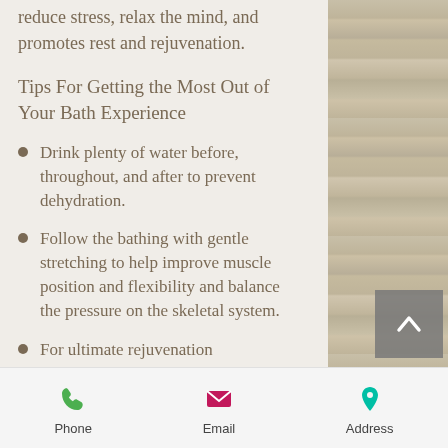and promoting rest. It helps to reduce stress, relax the mind, and promotes rest and rejuvenation.
Tips For Getting the Most Out of Your Bath Experience
Drink plenty of water before, throughout, and after to prevent dehydration.
Follow the bathing with gentle stretching to help improve muscle position and flexibility and balance the pressure on the skeletal system.
For ultimate rejuvenation
Phone   Email   Address